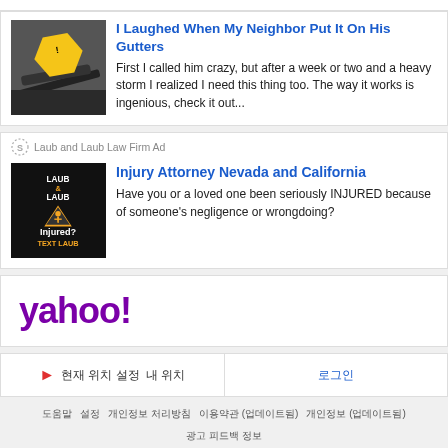I Laughed When My Neighbor Put It On His Gutters
First I called him crazy, but after a week or two and a heavy storm I realized I need this thing too. The way it works is ingenious, check it out...
Laub and Laub Law Firm Ad
Injury Attorney Nevada and California
Have you or a loved one been seriously INJURED because of someone's negligence or wrongdoing?
[Figure (logo): Yahoo! logo in purple]
현재 위치 설정  내 위치
로그인
도움말  설정  개인정보 처리방침  이용약관 (업데이트됨)  개인정보 (업데이트됨)  광고 피드백 정보